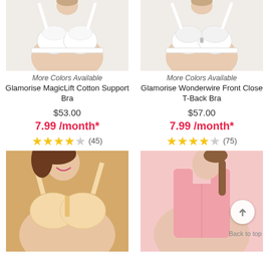[Figure (photo): Woman wearing white Glamorise MagicLift Cotton Support Bra]
[Figure (photo): Woman wearing white Glamorise Wonderwire Front Close T-Back Bra]
More Colors Available
More Colors Available
Glamorise MagicLift Cotton Support Bra
Glamorise Wonderwire Front Close T-Back Bra
$53.00
$57.00
7.99 /month*
7.99 /month*
(45)
(75)
[Figure (photo): Woman wearing beige/nude wireless support bra, smiling]
[Figure (photo): Woman wearing pink sports bra/tank top with Back to top button overlay]